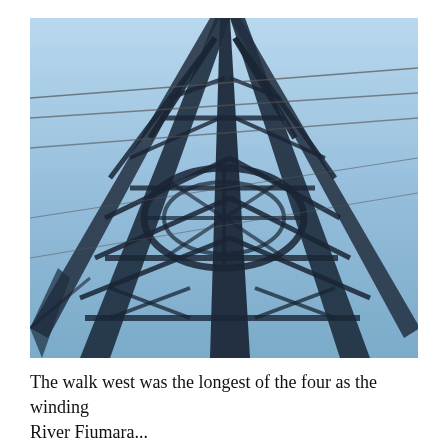[Figure (photo): Close-up upward-looking photograph of a large steel electricity transmission tower (pylon) with blue sky background. The lattice steel structure fills the frame, showing diagonal cross-bracing, vertical columns, and power lines extending from the tower.]
The walk west was the longest of the four as the winding River Fiumara...